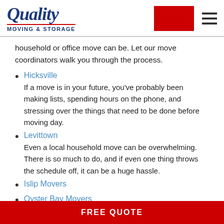[Figure (logo): Quality Moving & Storage logo with red underline, red box, and hamburger menu icon]
household or office move can be. Let our move coordinators walk you through the process.
Hicksville — If a move is in your future, you've probably been making lists, spending hours on the phone, and stressing over the things that need to be done before moving day.
Levittown — Even a local household move can be overwhelming. There is so much to do, and if even one thing throws the schedule off, it can be a huge hassle.
Islip Movers
Oyster Bay Movers
FREE QUOTE